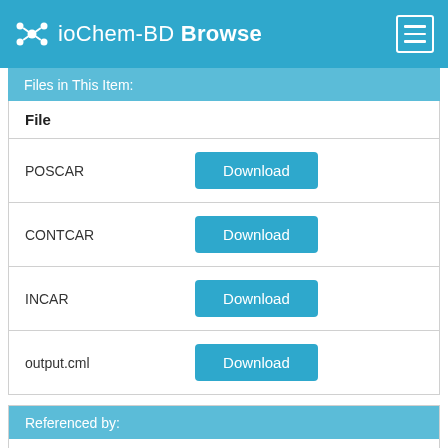ioChem-BD Browse
Files in This Item:
| File |  |
| --- | --- |
| POSCAR | Download |
| CONTCAR | Download |
| INCAR | Download |
| output.cml | Download |
Referenced by:
Manuscript title: Emergence of Potential-Controlled Cu-